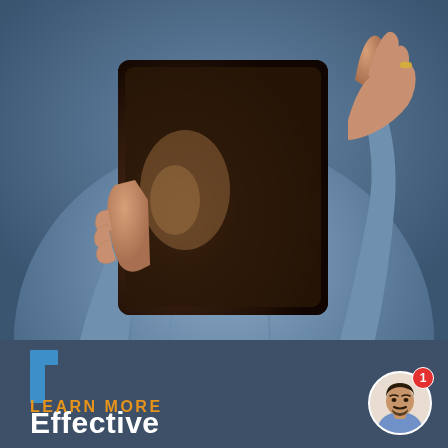[Figure (photo): Person in denim shirt holding a tablet device with one hand raised, viewed from the torso up, on a dark blue-grey background]
[Figure (logo): Blue L-shaped bracket/corner logo mark]
Effective
Proven learning methodology makes anyone ready in weeks.
LEARN MORE
[Figure (illustration): Small circular avatar of a man with a red notification badge showing '1']